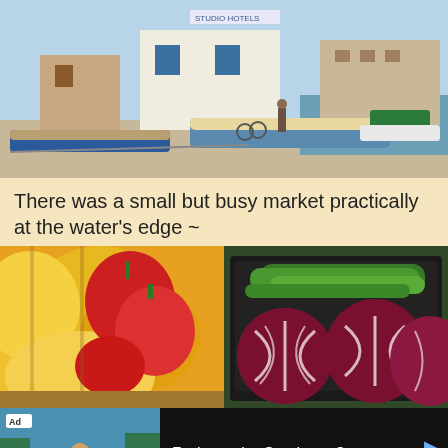[Figure (photo): A harbor scene with colorful fishing boats moored along a quay, white buildings with blue doors/windows in the background, and a person standing near a bicycle on the dock.]
There was a small but busy market practically at the water's edge ~
[Figure (photo): Close-up of market produce: yellow and red bell peppers on the left in wooden crates, and radicchio/red cabbage heads alongside green zucchini in a black plastic crate on the right.]
[Figure (screenshot): Advertisement bar at bottom: Ad badge with image of man in kayak, text 'Retire to the Southeast?' with source 'Cresswind' and 'Learn more' link in blue.]